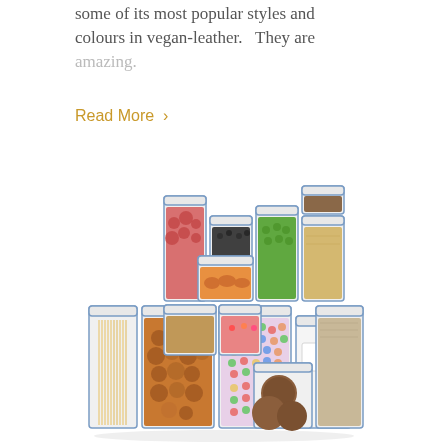some of its most popular styles and colours in vegan-leather.   They are amazing.
Read More >
[Figure (photo): A collection of clear food storage containers with blue lids, arranged in a stepped/pyramid display, filled with various dry goods including pasta, pretzels, lentils, dried apricots, rice, spices, seeds, and other pantry items.]